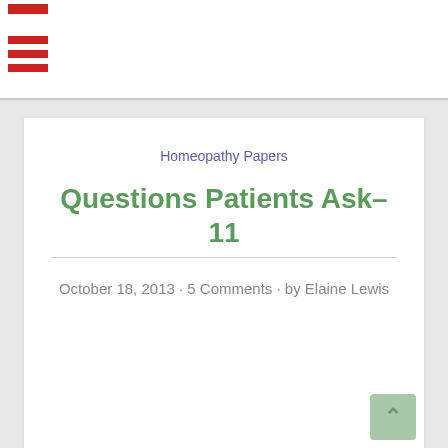Homeopathy Papers
Questions Patients Ask–11
October 18, 2013 · 5 Comments · by Elaine Lewis